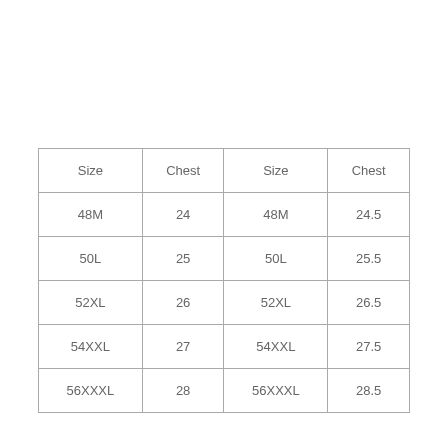| Size | Chest | Size | Chest |
| --- | --- | --- | --- |
| 48M | 24 | 48M | 24.5 |
| 50L | 25 | 50L | 25.5 |
| 52XL | 26 | 52XL | 26.5 |
| 54XXL | 27 | 54XXL | 27.5 |
| 56XXXL | 28 | 56XXXL | 28.5 |